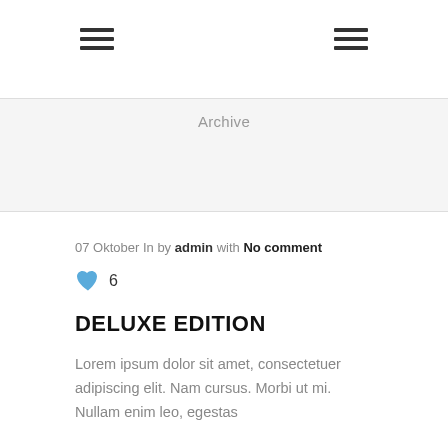Archive
07 Oktober In by admin with No comment
[Figure (illustration): Blue heart icon with like count 6]
DELUXE EDITION
Lorem ipsum dolor sit amet, consectetuer adipiscing elit. Nam cursus. Morbi ut mi. Nullam enim leo, egestas